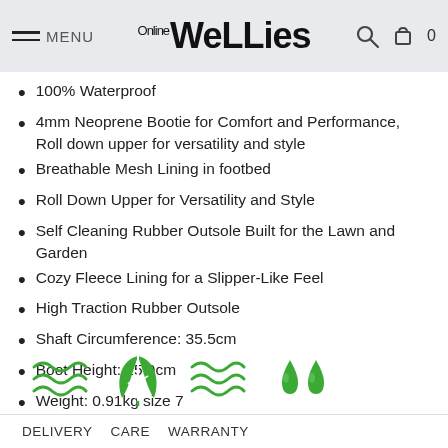MENU | WeLLies Online | [search] 0
100% Waterproof
4mm Neoprene Bootie for Comfort and Performance, Roll down upper for versatility and style
Breathable Mesh Lining in footbed
Roll Down Upper for Versatility and Style
Self Cleaning Rubber Outsole Built for the Lawn and Garden
Cozy Fleece Lining for a Slipper-Like Feel
High Traction Rubber Outsole
Shaft Circumference: 35.5cm
Boot Height: 25.9cm
Weight: 0.91kg size 7
SKU WM2-202-NVY-050
[Figure (illustration): Four green icons: wavy lines (water), leaf, wavy lines (breathability), water drops]
DELIVERY   CARE   WARRANTY